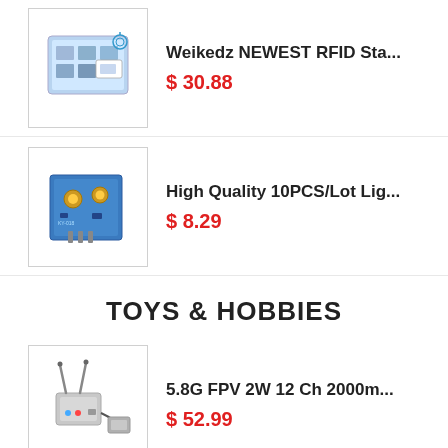[Figure (photo): RFID starter kit in a case]
Weikedz NEWEST RFID Sta...
$ 30.88
[Figure (photo): Blue light sensor module PCB]
High Quality 10PCS/Lot Lig...
$ 8.29
TOYS & HOBBIES
[Figure (photo): 5.8G FPV 2W 12 Ch wireless transmitter and receiver]
5.8G FPV 2W 12 Ch 2000m...
$ 52.99
[Figure (photo): 24cm Batman Spider Man glove toy]
24cm Batman Spider Man G...
$ 6.99
$ 9.45